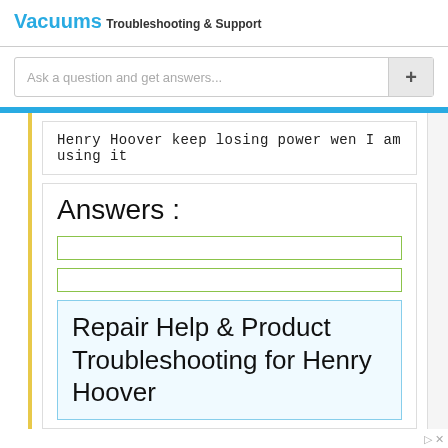Vacuums
Troubleshooting & Support
Ask a question and get answers...
Henry Hoover keep losing power wen I am using it
Answers :
Repair Help & Product Troubleshooting for Henry Hoover